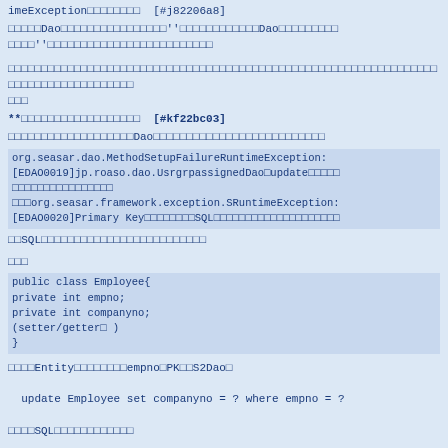imeException□□□□□□□□  [#j82206a8]
□□□□□Dao□□□□□□□□□□□□□□□□''□□□□□□□□□□□□Dao□□□□□□□□□□□□□□□□''□□□□□□□□□□□□□□□□□□□□□□□□□
□□□□□□□□□□□□□□□□□□□□□□□□□□□□□□□□□□□□□□□□□□□□□□□□□□□□□□□□□□□□□□□□□□□□□□□□□□□□□□□□□□□□
**□□□□□□□□□□□□□□□□□□  [#kf22bc03]
□□□□□□□□□□□□□□□□□□□Dao□□□□□□□□□□□□□□□□□□□□□□□□□□
org.seasar.dao.MethodSetupFailureRuntimeException:
  [EDAO0019]jp.roaso.dao.UsrgrpassignedDao□update□□□□□□□□□□□□□□□□□□□□□
   □□□org.seasar.framework.exception.SRuntimeException:
  [EDAO0020]Primary Key□□□□□□□□SQL□□□□□□□□□□□□□□□□□□□□
□□SQL□□□□□□□□□□□□□□□□□□□□□□□□□
□□□
public class Employee{
     private int empno;
     private int companyno;
  (setter/getter□ )
  }
□□□□Entity□□□□□□□□empno□PK□□S2Dao□
 update Employee set companyno = ? where empno = ?
□□□□SQL□□□□□□□□□□□□
empno□companyno□□□PK□□SQL□□
 update Employee set where emono = ? and companyno =